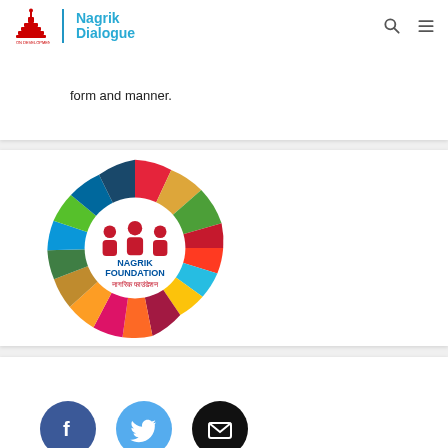Nagrik Dialogue
form and manner.
[Figure (logo): Nagrik Foundation logo — colorful SDG wheel ring with people icons and text 'NAGRIK FOUNDATION नागरिक फाउंडेशन' in the center.]
[Figure (infographic): Social media share buttons: Facebook (dark blue circle with f), Twitter (light blue circle with bird), Email (black circle with envelope icon).]